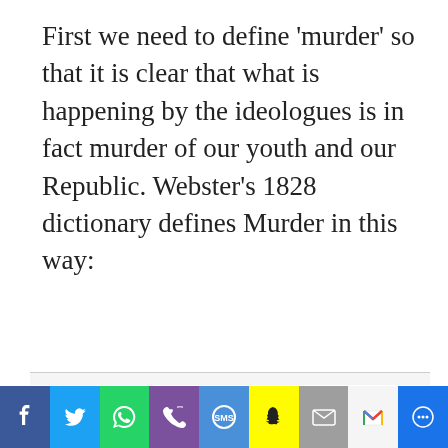First we need to define 'murder' so that it is clear that what is happening by the ideologues is in fact murder of our youth and our Republic. Webster's 1828 dictionary defines Murder in this way:
1. The act of unlawfully killing a human being with premeditated malice, by a person of sound mind. To constitute murder in law, the person killing another must be of sound mind or in possession of his reason, and the act must be done with malice prepense, aforethought or
[Figure (other): Social media sharing bar with icons for Facebook, Twitter, WhatsApp, Phone, SMS, Snapchat, Email, Gmail, and Chat]